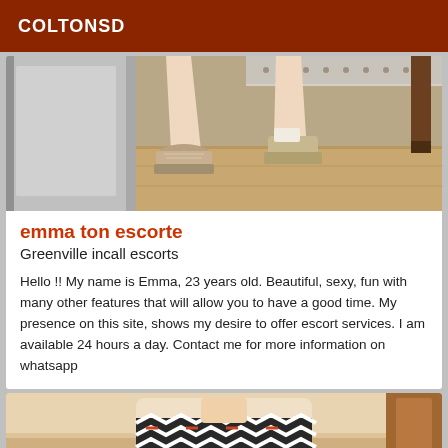COLTONSD
[Figure (photo): Photo of person's legs and feet wearing platform sneaker shoes, sitting near metal appliance or furniture, wooden floor visible]
emma ton escorte
Greenville incall escorts
Hello !! My name is Emma, 23 years old. Beautiful, sexy, fun with many other features that will allow you to have a good time. My presence on this site, shows my desire to offer escort services. I am available 24 hours a day. Contact me for more information on whatsapp
[Figure (photo): Photo of a person wearing a patterned black and white top/dress, partial view, indoor setting with wooden furniture visible]